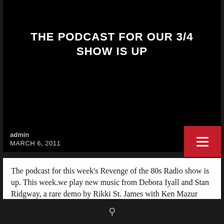THE PODCAST FOR OUR 3/4 SHOW IS UP
admin
MARCH 6, 2011
The podcast for this week's Revenge of the 80s Radio show is up. This week.we play new music from Debora Iyall and Stan Ridgway, a rare demo by Rikki St. James with Ken Mazur